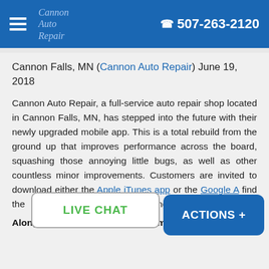Cannon Auto Repair | ☎ 507-263-2120
Cannon Falls, MN (Cannon Auto Repair) June 19, 2018
Cannon Auto Repair, a full-service auto repair shop located in Cannon Falls, MN, has stepped into the future with their newly upgraded mobile app. This is a total rebuild from the ground up that improves performance across the board, squashing those annoying little bugs, as well as other countless minor improvements. Customers are invited to download either the Apple iTunes app or the Google A[ndroid app or can] find the [app and make vehicle] a[nd] ownership a rewarding experience.
Along with performance improvements,
[Figure (screenshot): LIVE CHAT button overlay (white rounded rectangle with green text)]
[Figure (screenshot): ACTIONS + button overlay (blue rounded rectangle with white text)]